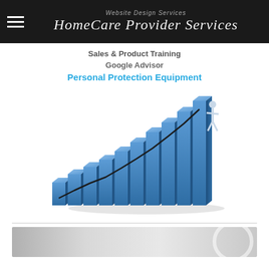Website Design Services | HomeCare Provider Services
Sales & Product Training
Google Advisor
Personal Protection Equipment
[Figure (illustration): 3D illustration of ascending blue bar chart steps with a small human figure standing at the top right, and a black line chart overlaid trending upward]
[Figure (photo): Partial photo at bottom of page showing a gray gradient background with a white circular arc element on the right side]